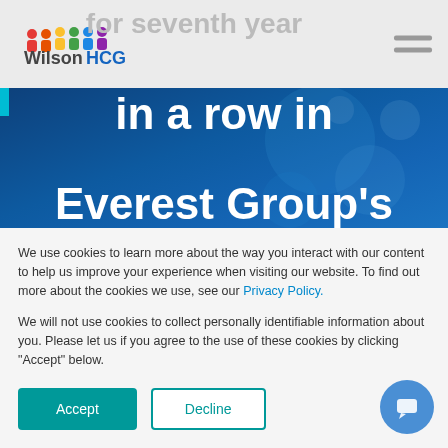[Figure (screenshot): WilsonHCG website screenshot showing logo in navigation bar and hero image with text 'for seventh year in a row in Everest Group's RPO Services' on dark blue background with bokeh light effects]
We use cookies to learn more about the way you interact with our content to help us improve your experience when visiting our website. To find out more about the cookies we use, see our Privacy Policy.
We will not use cookies to collect personally identifiable information about you. Please let us if you agree to the use of these cookies by clicking "Accept" below.